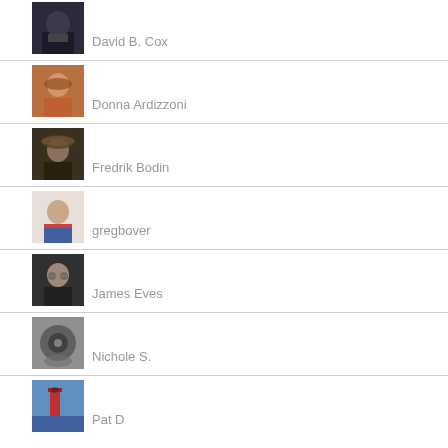David B. Cox
Donna Ardizzoni
Fredrik Bodin
gregbover
James Eves
Nichole S.
Pat D